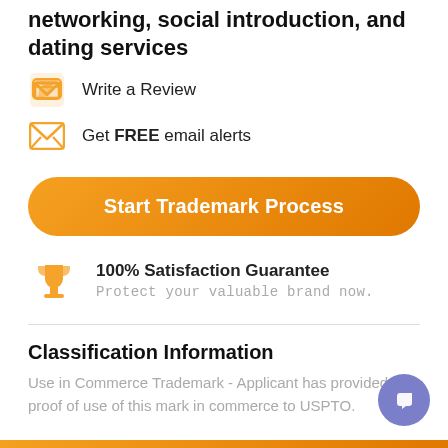networking, social introduction, and dating services
Write a Review
Get FREE email alerts
Start Trademark Process
100% Satisfaction Guarantee
Protect your valuable brand now.
Classification Information
Use in Commerce Trademark - Applicant has provided proof of use of this mark in commerce to USPTO.